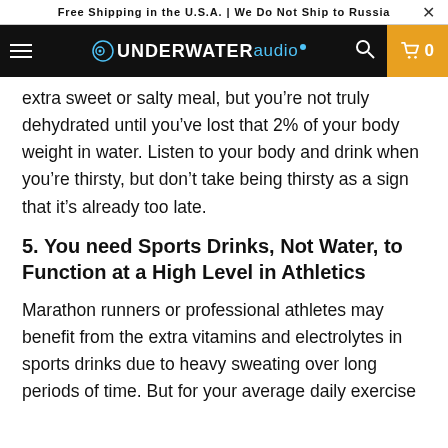Free Shipping in the U.S.A. | We Do Not Ship to Russia
[Figure (logo): Underwater Audio logo in navigation bar with hamburger menu, search icon, and cart showing 0]
extra sweet or salty meal, but you're not truly dehydrated until you've lost that 2% of your body weight in water. Listen to your body and drink when you're thirsty, but don't take being thirsty as a sign that it's already too late.
5. You need Sports Drinks, Not Water, to Function at a High Level in Athletics
Marathon runners or professional athletes may benefit from the extra vitamins and electrolytes in sports drinks due to heavy sweating over long periods of time. But for your average daily exercise